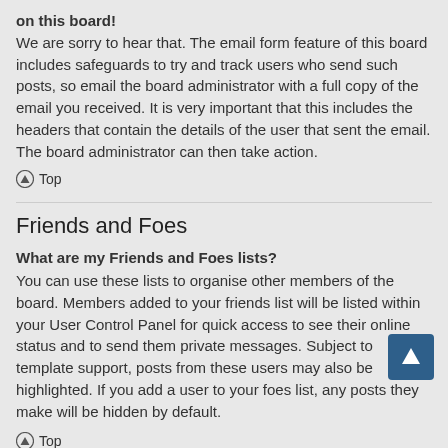on this board! We are sorry to hear that. The email form feature of this board includes safeguards to try and track users who send such posts, so email the board administrator with a full copy of the email you received. It is very important that this includes the headers that contain the details of the user that sent the email. The board administrator can then take action.
Top
Friends and Foes
What are my Friends and Foes lists? You can use these lists to organise other members of the board. Members added to your friends list will be listed within your User Control Panel for quick access to see their online status and to send them private messages. Subject to template support, posts from these users may also be highlighted. If you add a user to your foes list, any posts they make will be hidden by default.
Top